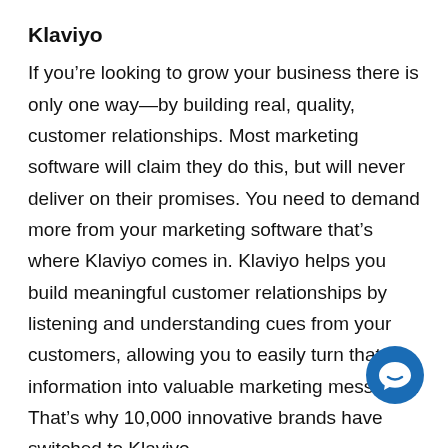Klaviyo
If you’re looking to grow your business there is only one way—by building real, quality, customer relationships. Most marketing software will claim they do this, but will never deliver on their promises. You need to demand more from your marketing software that’s where Klaviyo comes in. Klaviyo helps you build meaningful customer relationships by listening and understanding cues from your customers, allowing you to easily turn that information into valuable marketing messages.
That’s why 10,000 innovative brands have switched to Klaviyo.
What’s their secret to building customer